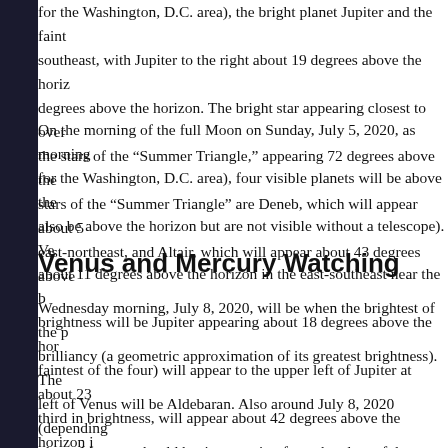for the Washington, D.C. area), the bright planet Jupiter and the faint southeast, with Jupiter to the right about 19 degrees above the horiz degrees above the horizon. The bright star appearing closest to over the stars of the “Summer Triangle,” appearing 72 degrees above the stars of the “Summer Triangle” are Deneb, which will appear about 5 east-northeast, and Altair, which will appear about 43 degrees above
On the morning of the full Moon on Sunday, July 5, 2020, as morning for the Washington, D.C. area), four visible planets will be above the also be above the horizon but are not visible without a telescope). Ve about 11 degrees above the horizon in the east-southeast near the b brightness will be Jupiter appearing about 18 degrees above the hor faintest of the four) will appear to the upper left of Jupiter at about 23 third in brightness, will appear about 42 degrees above the horizon i
Venus and Mercury Watching
Wednesday morning, July 8, 2020, will be when the brightest of the p brilliancy (a geometric approximation of its greatest brightness). The left of Venus will be Aldebaran. Also around July 8, 2020 (depending planet Mercury should begin emerging from the glow of dawn about appearing low on the horizon in the east-northeast. Venus and Aldeb each other on the morning of Sunday, July 12, 2020, about 1 degree